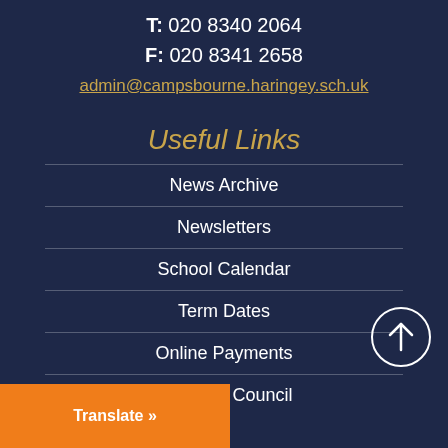T: 020 8340 2064
F: 020 8341 2658
admin@campsbourne.haringey.sch.uk
Useful Links
News Archive
Newsletters
School Calendar
Term Dates
Online Payments
Haringey Council
[Figure (other): Circular scroll-to-top button with upward arrow]
Translate »